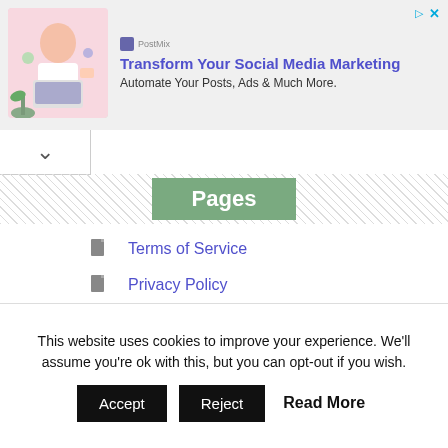[Figure (photo): Advertisement banner for a social media marketing tool. Shows a woman at a laptop with marketing icons, brand logo top-left, and close/ad icons top-right. Text reads: Transform Your Social Media Marketing. Automate Your Posts, Ads & Much More.]
Terms of Service
Privacy Policy
About Us
Contact Us
Advertise
Subscribe
This website uses cookies to improve your experience. We'll assume you're ok with this, but you can opt-out if you wish.
Accept
Reject
Read More